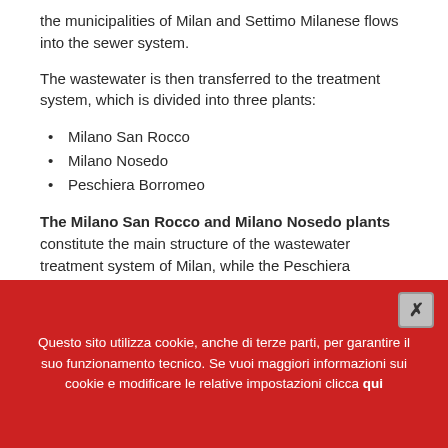the municipalities of Milan and Settimo Milanese flows into the sewer system.
The wastewater is then transferred to the treatment system, which is divided into three plants:
Milano San Rocco
Milano Nosedo
Peschiera Borromeo
The Milano San Rocco and Milano Nosedo plants constitute the main structure of the wastewater treatment system of Milan, while the Peschiera Borromeo plant, understood as the 2nd line of treatment serving the eastern area of Milan, had to be constructed to meet technical and hydraulic requirements.
Questo sito utilizza cookie, anche di terze parti, per garantire il suo funzionamento tecnico. Se vuoi maggiori informazioni sui cookie e modificare le relative impostazioni clicca qui